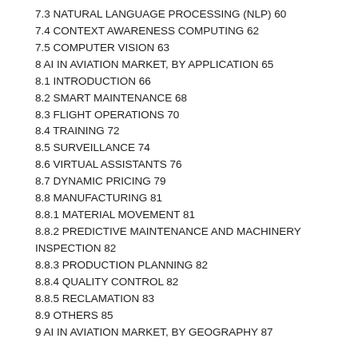7.3 NATURAL LANGUAGE PROCESSING (NLP) 60
7.4 CONTEXT AWARENESS COMPUTING 62
7.5 COMPUTER VISION 63
8 AI IN AVIATION MARKET, BY APPLICATION 65
8.1 INTRODUCTION 66
8.2 SMART MAINTENANCE 68
8.3 FLIGHT OPERATIONS 70
8.4 TRAINING 72
8.5 SURVEILLANCE 74
8.6 VIRTUAL ASSISTANTS 76
8.7 DYNAMIC PRICING 79
8.8 MANUFACTURING 81
8.8.1 MATERIAL MOVEMENT 81
8.8.2 PREDICTIVE MAINTENANCE AND MACHINERY INSPECTION 82
8.8.3 PRODUCTION PLANNING 82
8.8.4 QUALITY CONTROL 82
8.8.5 RECLAMATION 83
8.9 OTHERS 85
9 AI IN AVIATION MARKET, BY GEOGRAPHY 87